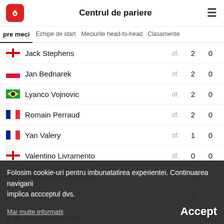Centrul de pariere
pre meci  Echipe de start  Meciurile head-to-head  Clasamente
| Player | Pos | Apps | Goals |
| --- | --- | --- | --- |
| Jack Stephens | df. | 2 | 0 |
| Jan Bednarek | df. | 2 | 0 |
| Lyanco Vojnovic | df. | 2 | 0 |
| Romain Perraud | df. | 2 | 0 |
| Yan Valery | df. | 1 | 0 |
| Valentino Livramento | df. | 0 | 0 |
| James Ward-Prowse | mf. | 4 | 1 |
| Joe Aribo | mf. | 4 | 1 |
| Moussa Djenepo | mf. | 4 | 0 |
| Stuart Armstrong | mf. | 4 | 0 |
| Mohamed Elyounoussi | mf. | 3 |  |
Folosim cookie-uri pentru imbunatatirea experientei. Continuarea navigarii implica accceptul dvs.
Mai multe informatii
Accept